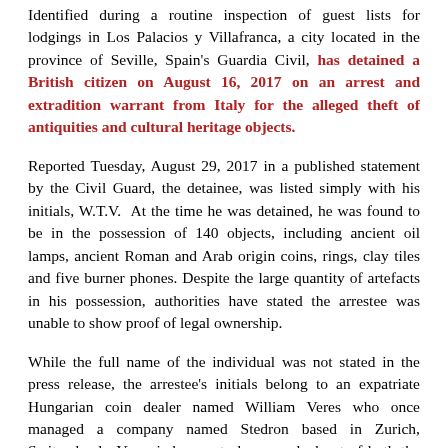Identified during a routine inspection of guest lists for lodgings in Los Palacios y Villafranca, a city located in the province of Seville, Spain's Guardia Civil, has detained a British citizen on August 16, 2017 on an arrest and extradition warrant from Italy for the alleged theft of antiquities and cultural heritage objects.
Reported Tuesday, August 29, 2017 in a published statement by the Civil Guard, the detainee, was listed simply with his initials, W.T.V. At the time he was detained, he was found to be in the possession of 140 objects, including ancient oil lamps, ancient Roman and Arab origin coins, rings, clay tiles and five burner phones. Despite the large quantity of artefacts in his possession, authorities have stated the arrestee was unable to show proof of legal ownership.
While the full name of the individual was not stated in the press release, the arrestee's initials belong to an expatriate Hungarian coin dealer named William Veres who once managed a company named Stedron based in Zurich, Switzerland. Veres is known to have worked out of both the UK and Spain and has had his name attached to various illicit activities.